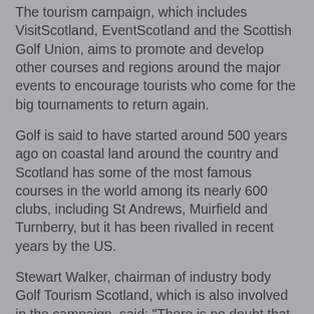The tourism campaign, which includes VisitScotland, EventScotland and the Scottish Golf Union, aims to promote and develop other courses and regions around the major events to encourage tourists who come for the big tournaments to return again.
Golf is said to have started around 500 years ago on coastal land around the country and Scotland has some of the most famous courses in the world among its nearly 600 clubs, including St Andrews, Muirfield and Turnberry, but it has been rivalled in recent years by the US.
Stewart Walker, chairman of industry body Golf Tourism Scotland, which is also involved in the campaign, said: "There is no doubt that the golf tourism industry in Scotland already has the greatest collection of assets anywhere in the world as well as an enviable history and heritage in the game.
"What this strategy is designed to achieve is ensuring all partners involved in growing the golf tourism industry are working together in order to sell and market Scotland as the home of golf to its full potential.